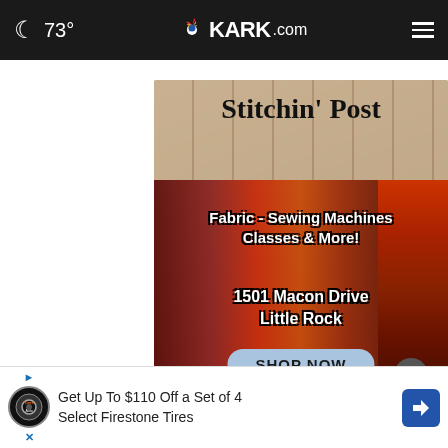73° KARK.com
[Figure (photo): Stitchin' Post store advertisement showing fabric rolls with text: Fabric - Sewing Machines Classes & More! 1501 Macon Drive Little Rock. SHOP NOW button.]
Get Up To $110 Off a Set of 4 Select Firestone Tires